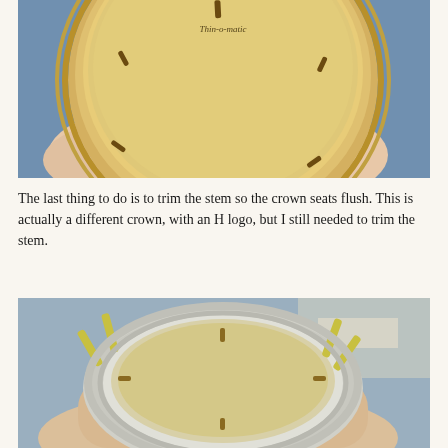[Figure (photo): Close-up photo of a vintage gold-faced watch being held by a hand, showing the dial with baton hour markers and cursive brand text 'Thin-o-matic' on a blue fabric background.]
The last thing to do is to trim the stem so the crown seats flush. This is actually a different crown, with an H logo, but I still needed to trim the stem.
[Figure (photo): Close-up photo of a vintage silver watch case being held in a hand, showing the watch from the front with gold baton hour markers and lugs visible, on a blurred workshop background.]